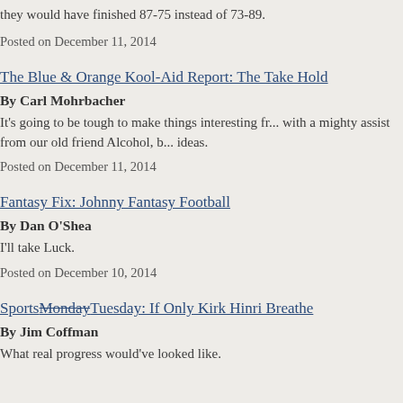they would have finished 87-75 instead of 73-89.
Posted on December 11, 2014
The Blue & Orange Kool-Aid Report: The Take Hold
By Carl Mohrbacher
It's going to be tough to make things interesting fr... with a mighty assist from our old friend Alcohol, b... ideas.
Posted on December 11, 2014
Fantasy Fix: Johnny Fantasy Football
By Dan O'Shea
I'll take Luck.
Posted on December 10, 2014
SportsMondayTuesday: If Only Kirk Hinri Breathe
By Jim Coffman
What real progress would've looked like.